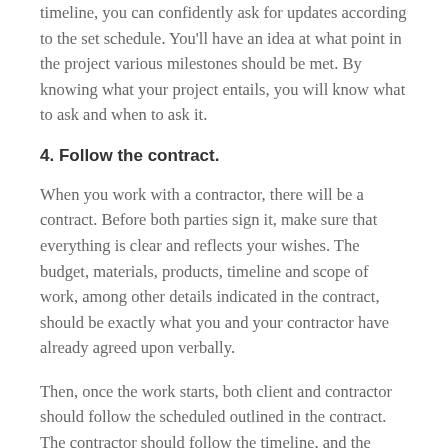timeline, you can confidently ask for updates according to the set schedule. You'll have an idea at what point in the project various milestones should be met. By knowing what your project entails, you will know what to ask and when to ask it.
4. Follow the contract.
When you work with a contractor, there will be a contract. Before both parties sign it, make sure that everything is clear and reflects your wishes. The budget, materials, products, timeline and scope of work, among other details indicated in the contract, should be exactly what you and your contractor have already agreed upon verbally.
Then, once the work starts, both client and contractor should follow the scheduled outlined in the contract. The contractor should follow the timeline, and the client should follow the agreed-upon payment schedule. Issues in home...